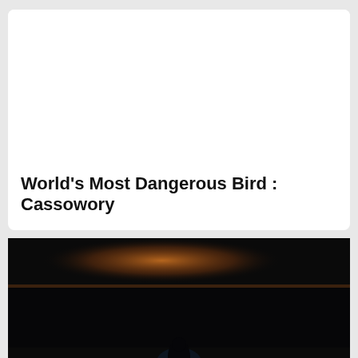World’s Most Dangerous Bird : Cassowory
[Figure (photo): Dark nighttime landscape photo showing a silhouette of a person against a distant horizon with orange/amber glow and scattered lights across the skyline]
[Figure (infographic): Orange Direct Relief advertisement banner reading 'Help send medical aid to Ukraine >>' with Direct Relief logo on right side]